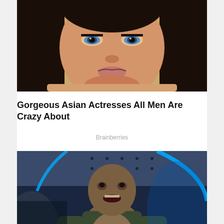[Figure (photo): Close-up photo of a woman with dark hair, blue eyes, and a smile — an Asian actress portrait]
Gorgeous Asian Actresses All Men Are Crazy About
Brainberries
[Figure (photo): Movie still of a zombie-like character holding something, with blue neon lighting in the background]
Turn Off The Lights And Get Watching